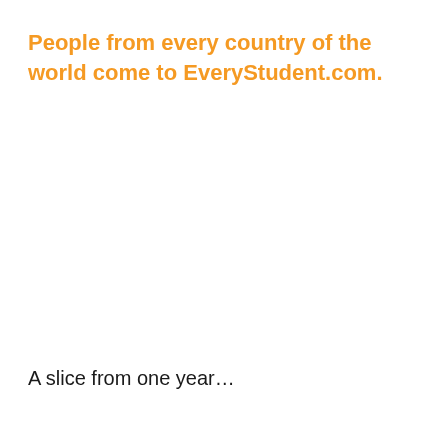People from every country of the world come to EveryStudent.com.
A slice from one year…